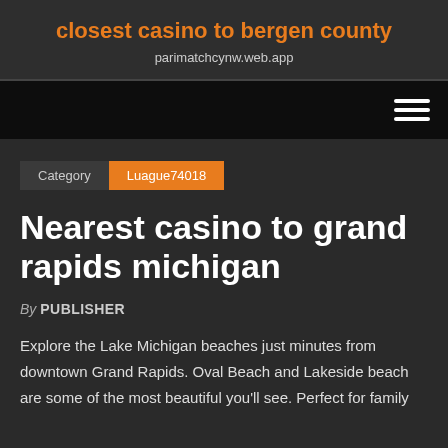closest casino to bergen county
parimatchcynw.web.app
[Figure (other): Navigation bar with hamburger menu icon (three horizontal white lines) on black background]
Category   Luague74018
Nearest casino to grand rapids michigan
By PUBLISHER
Explore the Lake Michigan beaches just minutes from downtown Grand Rapids. Oval Beach and Lakeside beach are some of the most beautiful you'll see. Perfect for family